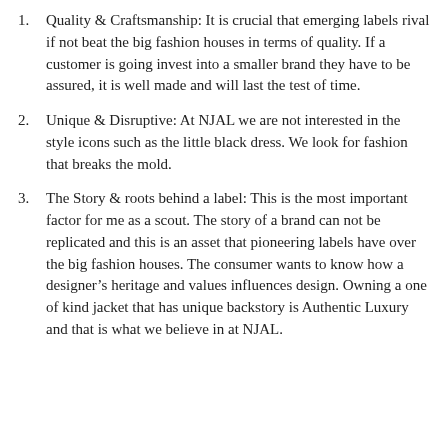Quality & Craftsmanship: It is crucial that emerging labels rival if not beat the big fashion houses in terms of quality. If a customer is going invest into a smaller brand they have to be assured, it is well made and will last the test of time.
Unique & Disruptive: At NJAL we are not interested in the style icons such as the little black dress. We look for fashion that breaks the mold.
The Story & roots behind a label: This is the most important factor for me as a scout. The story of a brand can not be replicated and this is an asset that pioneering labels have over the big fashion houses. The consumer wants to know how a designer's heritage and values influences design. Owning a one of kind jacket that has unique backstory is Authentic Luxury and that is what we believe in at NJAL.